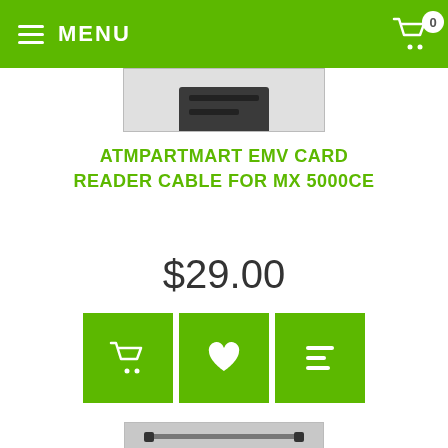MENU | Cart: 0
[Figure (photo): Partial view of a product (cable/connector) cropped at top]
ATMPARTMART EMV CARD READER CABLE FOR MX 5000CE
$29.00
[Figure (other): Three green action buttons: add to cart (basket), wishlist (heart), compare (list icon)]
[Figure (photo): Photo of EMV card reader cable for MX 5000CE — gray cable with connectors at both ends, ATMPartMart.com watermark visible]